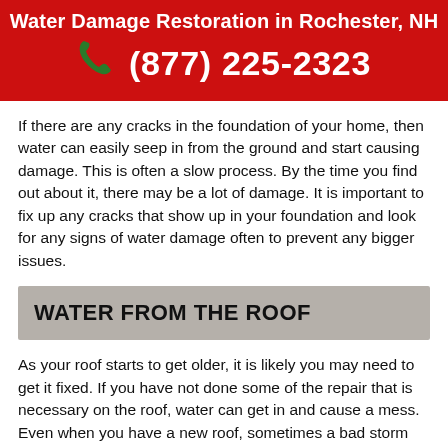Water Damage Restoration in Rochester, NH
(877) 225-2323
If there are any cracks in the foundation of your home, then water can easily seep in from the ground and start causing damage. This is often a slow process. By the time you find out about it, there may be a lot of damage. It is important to fix up any cracks that show up in your foundation and look for any signs of water damage often to prevent any bigger issues.
WATER FROM THE ROOF
As your roof starts to get older, it is likely you may need to get it fixed. If you have not done some of the repair that is necessary on the roof, water can get in and cause a mess. Even when you have a new roof, sometimes a bad storm can damage the roof and will let water get in.